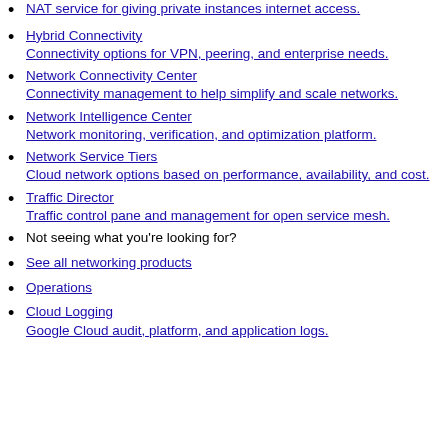NAT service for giving private instances internet access.
Hybrid Connectivity
Connectivity options for VPN, peering, and enterprise needs.
Network Connectivity Center
Connectivity management to help simplify and scale networks.
Network Intelligence Center
Network monitoring, verification, and optimization platform.
Network Service Tiers
Cloud network options based on performance, availability, and cost.
Traffic Director
Traffic control pane and management for open service mesh.
Not seeing what you're looking for?
See all networking products
Operations
Cloud Logging
Google Cloud audit, platform, and application logs.